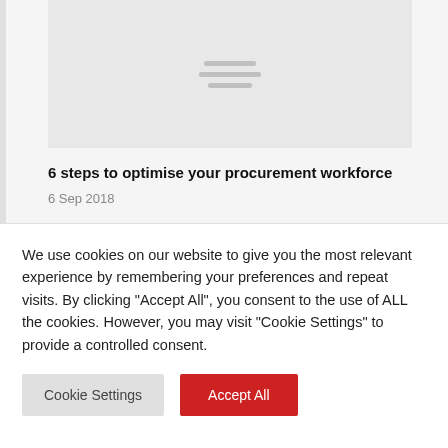[Figure (screenshot): Placeholder card image with hamburger menu lines, light gray background]
6 steps to optimise your procurement workforce
6 Sep 2018
[Figure (screenshot): Second card image placeholder, light gray background]
We use cookies on our website to give you the most relevant experience by remembering your preferences and repeat visits. By clicking "Accept All", you consent to the use of ALL the cookies. However, you may visit "Cookie Settings" to provide a controlled consent.